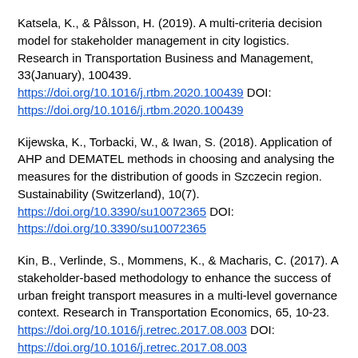Katsela, K., & Pålsson, H. (2019). A multi-criteria decision model for stakeholder management in city logistics. Research in Transportation Business and Management, 33(January), 100439. https://doi.org/10.1016/j.rtbm.2020.100439 DOI: https://doi.org/10.1016/j.rtbm.2020.100439
Kijewska, K., Torbacki, W., & Iwan, S. (2018). Application of AHP and DEMATEL methods in choosing and analysing the measures for the distribution of goods in Szczecin region. Sustainability (Switzerland), 10(7). https://doi.org/10.3390/su10072365 DOI: https://doi.org/10.3390/su10072365
Kin, B., Verlinde, S., Mommens, K., & Macharis, C. (2017). A stakeholder-based methodology to enhance the success of urban freight transport measures in a multi-level governance context. Research in Transportation Economics, 65, 10-23. https://doi.org/10.1016/j.retrec.2017.08.003 DOI: https://doi.org/10.1016/j.retrec.2017.08.003